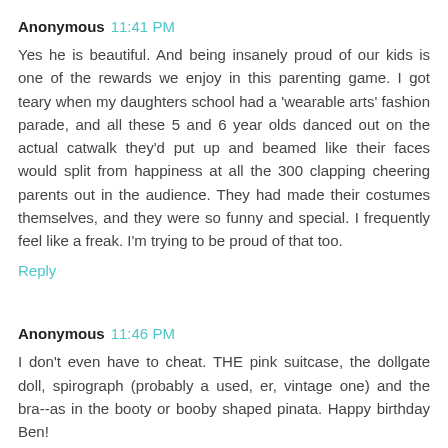Anonymous 11:41 PM
Yes he is beautiful. And being insanely proud of our kids is one of the rewards we enjoy in this parenting game. I got teary when my daughters school had a 'wearable arts' fashion parade, and all these 5 and 6 year olds danced out on the actual catwalk they'd put up and beamed like their faces would split from happiness at all the 300 clapping cheering parents out in the audience. They had made their costumes themselves, and they were so funny and special. I frequently feel like a freak. I'm trying to be proud of that too.
Reply
Anonymous 11:46 PM
I don't even have to cheat. THE pink suitcase, the dollgate doll, spirograph (probably a used, er, vintage one) and the bra--as in the booty or booby shaped pinata. Happy birthday Ben!